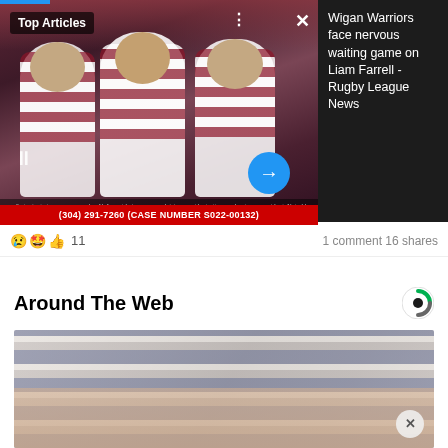[Figure (photo): Sports photo of rugby/football players celebrating in red and white striped jerseys on a stadium pitch with Top Articles label overlay. Blue progress bar at top. Pause, dots, and close buttons visible. Blue arrow button. Small caption text at bottom.]
Top Articles
Wigan Warriors face nervous waiting game on Liam Farrell - Rugby League News
(304) 291-7260 (CASE NUMBER S022-00132)
11
1 comment  16 shares
Around The Web
[Figure (photo): Close-up photo of a person wearing a blue, gray and white striped shirt with skin visible (forearms/torso area). An X close button is visible at bottom right.]